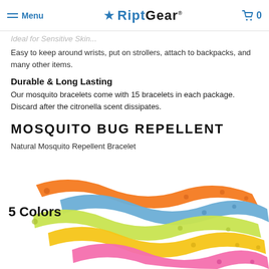RiptGear — Menu | Cart 0
Easy to keep around wrists, put on strollers, attach to backpacks, and many other items.
Durable & Long Lasting
Our mosquito bracelets come with 15 bracelets in each package. Discard after the citronella scent dissipates.
MOSQUITO BUG REPELLENT
Natural Mosquito Repellent Bracelet
[Figure (photo): Five colorful mosquito repellent bracelets in orange, blue, yellow-green, yellow/gold, and pink, shown fanned out with label '5 Colors']